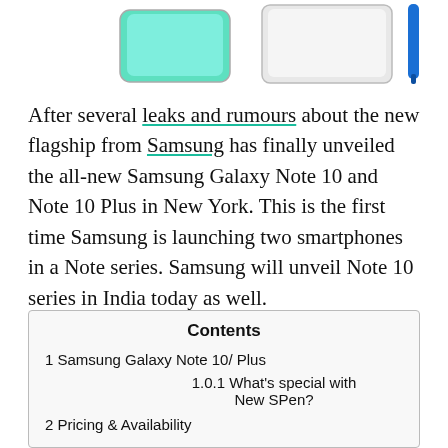[Figure (photo): Partial top view of Samsung Galaxy Note 10 and Note 10 Plus smartphones along with an S Pen, cropped at the top of the page]
After several leaks and rumours about the new flagship from Samsung has finally unveiled the all-new Samsung Galaxy Note 10 and Note 10 Plus in New York. This is the first time Samsung is launching two smartphones in a Note series. Samsung will unveil Note 10 series in India today as well.
| Contents |
| --- |
| 1 Samsung Galaxy Note 10/ Plus |
| 1.0.1 What’s special with New SPen? |
| 2 Pricing & Availability |